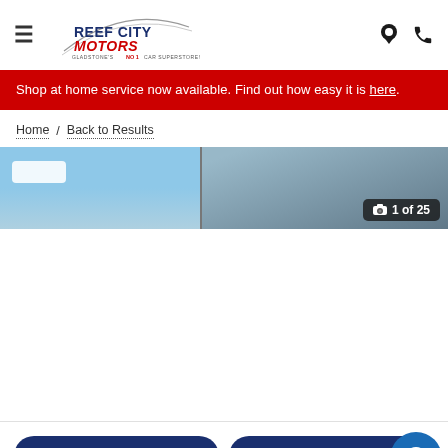[Figure (logo): Reef City Motors logo with arc, tagline 'Gladstone's No 1 Car Superstore!']
Shop at home service now available. Find out how easy it is here.
Home / Back to Results
[Figure (photo): Car dealership photo viewer showing partial exterior view, image 1 of 25]
CALL
EMAIL